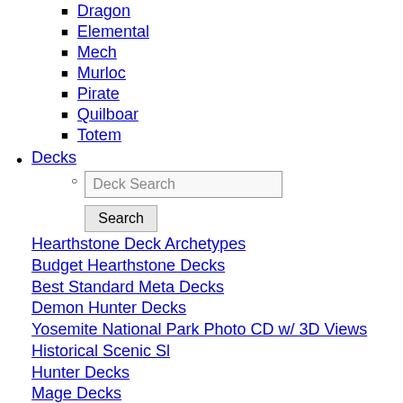Dragon
Elemental
Mech
Murloc
Pirate
Quilboar
Totem
Decks
Deck Search (search box)
Hearthstone Deck Archetypes
Budget Hearthstone Decks
Best Standard Meta Decks
Demon Hunter Decks
Yosemite National Park Photo CD w/ 3D Views
Historical Scenic Sl
Hunter Decks
Mage Decks
Paladin Decks
Priest Decks
Rogue Decks
Shaman Decks
Warlock Decks
Warrior Decks
Alteras